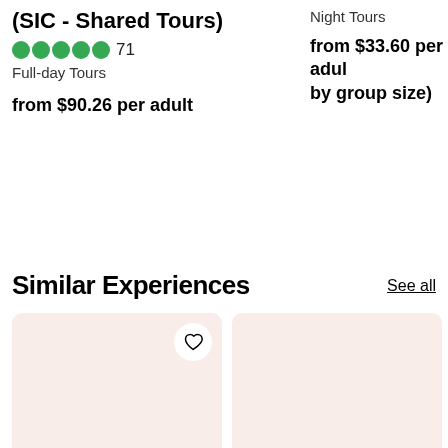(SIC - Shared Tours)
71
Full-day Tours
from $90.26 per adult
Night Tours
from $33.60 per adult (by group size)
Similar Experiences
See all
[Figure (photo): Thumbnail card placeholder with heart/wishlist button, pinkish-beige background]
[Figure (photo): Thumbnail card placeholder, pinkish-beige background, partially cropped on right]